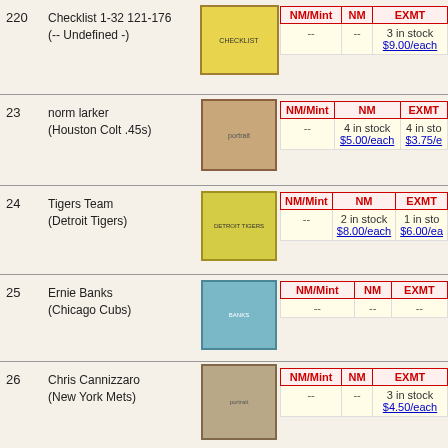| # | Name | Image | NM/Mint | NM | EXMT |
| --- | --- | --- | --- | --- | --- |
| 220 | Checklist 1-32 121-176 (-- Undefined -) | [card] | -- | -- | 3 in stock $9.00/each |
| 23 | norm larker (Houston Colt .45s) | [card] | -- | 4 in stock $5.00/each | 4 in stock $3.75/each |
| 24 | Tigers Team (Detroit Tigers) | [card] | -- | 2 in stock $8.00/each | 1 in stock $6.00/each |
| 25 | Ernie Banks (Chicago Cubs) | [card] | -- | -- | -- |
| 26 | Chris Cannizzaro (New York Mets) | [card] | -- | -- | 3 in stock $4.50/each |
| 27 | Chuck Cottier (Washington Senators) | [card] | -- | -- | 1 in stock |